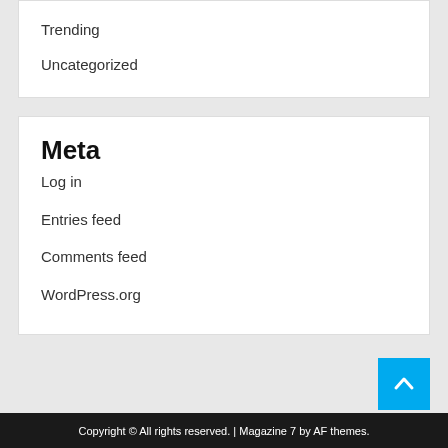Trending
Uncategorized
Meta
Log in
Entries feed
Comments feed
WordPress.org
Copyright © All rights reserved. | Magazine 7 by AF themes.